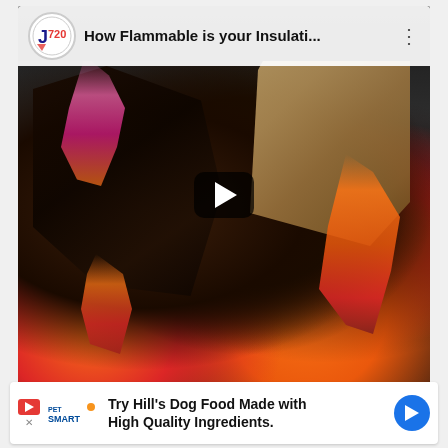[Figure (screenshot): YouTube video thumbnail showing burning insulation materials with orange and red flames against dark charred gravel background. Video title reads 'How Flammable is your Insulati...' with a channel logo (J720) and three-dot menu. A play button overlay is shown in the center.]
[Figure (screenshot): Advertisement banner for PetSmart/Hill's Dog Food with text 'Try Hill's Dog Food Made with High Quality Ingredients.' with PetSmart logo, play button icon, close X button, and blue circular arrow button.]